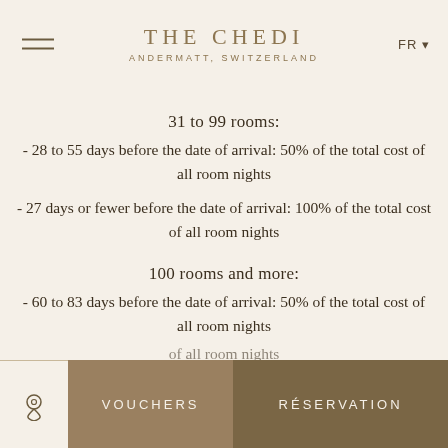THE CHEDI ANDERMATT, SWITZERLAND FR
31 to 99 rooms:
- 28 to 55 days before the date of arrival: 50% of the total cost of all room nights
- 27 days or fewer before the date of arrival: 100% of the total cost of all room nights
100 rooms and more:
- 60 to 83 days before the date of arrival: 50% of the total cost of all room nights
VOUCHERS   RÉSERVATION